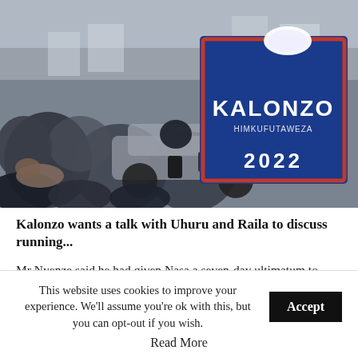[Figure (photo): Crowd scene at a political rally with people holding campaign signs and placards. A prominent blue banner with red border reading 'KALONZO HIMKUFUTAWEZA 2022' is visible in the foreground right.]
Kalonzo wants a talk with Uhuru and Raila to discuss running...
Mr Nyenze said he had given Nasa a seven-day ultimatum to convene a meeting of the National Coordinating Committee to affirm the 2013 MoU otherwise Mr Musyoka would go it alone
This website uses cookies to improve your experience. We'll assume you're ok with this, but you can opt-out if you wish.
Read More